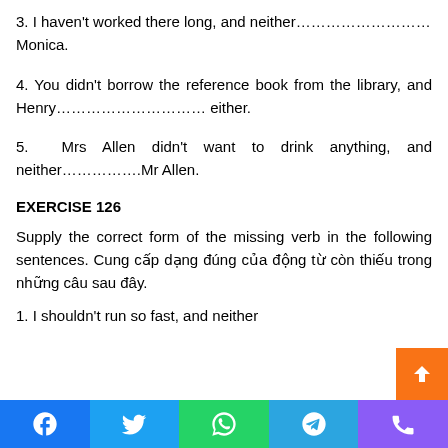3. I haven't worked there long, and neither………………………Monica.
4. You didn't borrow the reference book from the library, and Henry………………………… either.
5. Mrs Allen didn't want to drink anything, and neither…………….Mr Allen.
EXERCISE 126
Supply the correct form of the missing verb in the following sentences. Cung cấp dạng đúng của động từ còn thiếu trong những câu sau đây.
1. I shouldn't run so fast, and neither